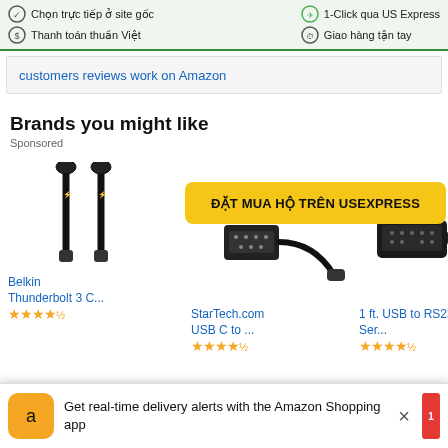Chọn trực tiếp ở site gốc | Thanh toán thuần Việt | 1-Click qua US Express | Giao hàng tận tay
customers reviews work on Amazon
Brands you might like
Sponsored
[Figure (screenshot): Yellow banner with text: ĐẶT MUA HỘ TRÊN USEXPRESS]
[Figure (photo): Belkin Thunderbolt 3 C... cable product image with orange star rating]
[Figure (photo): StarTech.com USB C to ... adapter product image with orange star rating]
[Figure (photo): 1 ft. USB to RS232 Ser... cable product image with orange star rating]
[Figure (photo): Partial product image on right edge]
Get real-time delivery alerts with the Amazon Shopping app